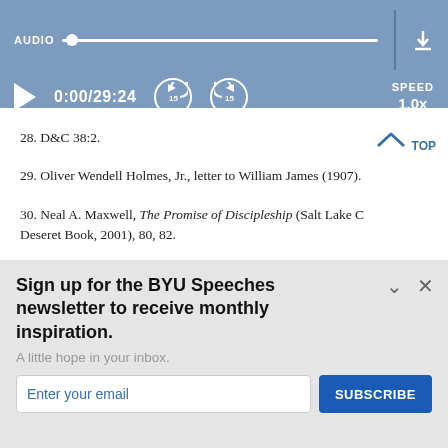[Figure (screenshot): Audio player bar with AUDIO label, progress track with thumb, play button, time display 0:00/29:24, skip back 15s button, skip forward 15s button, SPEED 1.0x, download icon and vertical divider]
28. D&C 38:2.
29. Oliver Wendell Holmes, Jr., letter to William James (1907).
30. Neal A. Maxwell, The Promise of Discipleship (Salt Lake C… Deseret Book, 2001), 80, 82.
Sign up for the BYU Speeches newsletter to receive monthly inspiration.
A little hope in your inbox.
Enter your email
SUBSCRIBE